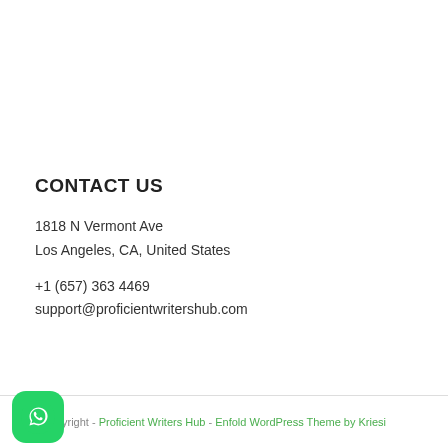CONTACT US
1818 N Vermont Ave
Los Angeles, CA, United States
+1 (657) 363 4469
support@proficientwritershub.com
yright - Proficient Writers Hub - Enfold WordPress Theme by Kriesi